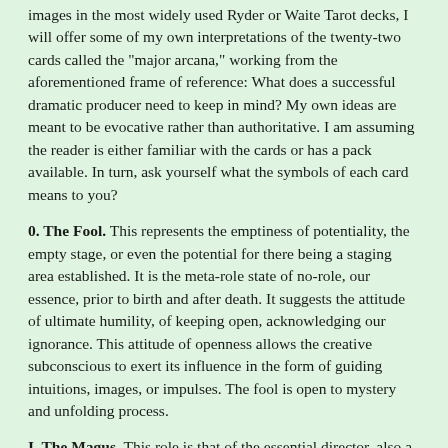images in the most widely used Ryder or Waite Tarot decks, I will offer some of my own interpretations of the twenty-two cards called the "major arcana," working from the aforementioned frame of reference: What does a successful dramatic producer need to keep in mind? My own ideas are meant to be evocative rather than authoritative. I am assuming the reader is either familiar with the cards or has a pack available. In turn, ask yourself what the symbols of each card means to you?
0. The Fool. This represents the emptiness of potentiality, the empty stage, or even the potential for there being a staging area established. It is the meta-role state of no-role, our essence, prior to birth and after death. It suggests the attitude of ultimate humility, of keeping open, acknowledging our ignorance. This attitude of openness allows the creative subconscious to exert its influence in the form of guiding intuitions, images, or impulses. The fool is open to mystery and unfolding process.
I. The Magus. This role is that of the essential director, also a meta-role. Using the four